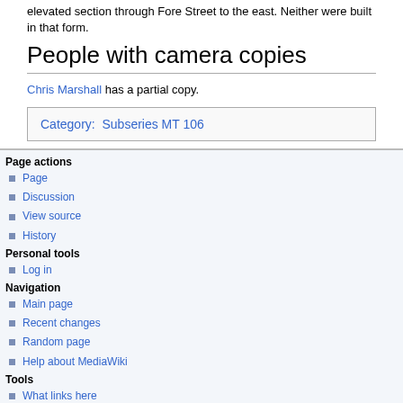elevated section through Fore Street to the east. Neither were built in that form.
People with camera copies
Chris Marshall has a partial copy.
Category:  Subseries MT 106
Page actions
Page
Discussion
View source
History
Personal tools
Log in
Navigation
Main page
Recent changes
Random page
Help about MediaWiki
Tools
What links here
Related changes
Special pages
Printable version